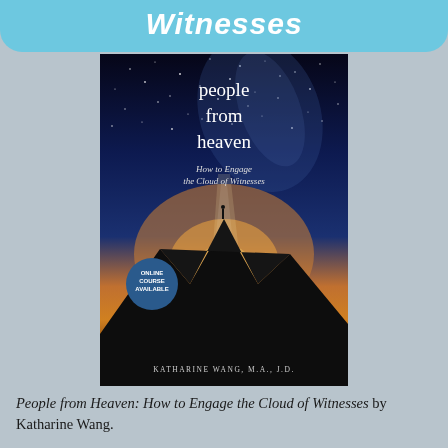Witnesses
[Figure (photo): Book cover of 'People from Heaven: How to Engage the Cloud of Witnesses' by Katharine Wang, M.A., J.D. Shows a person standing on a mountain summit beneath a starry sky with a glowing horizon. Includes a circular badge reading 'Online Course Available'.]
People from Heaven: How to Engage the Cloud of Witnesses by Katharine Wang.
Get the most from the ATCU course with this book! This book closely tracks the ATCU course, adding bonus material and additional stories. It's a fantastic, in-depth guide to launch you